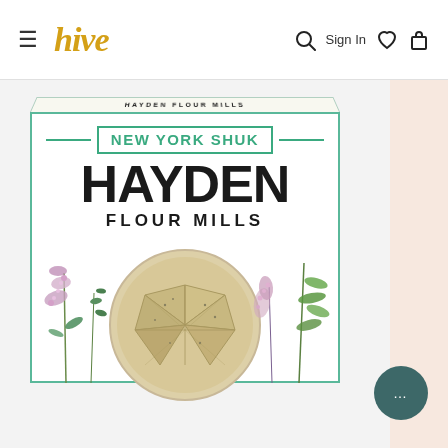≡ hive   Sign In ♡ 🛒
[Figure (photo): Product box of Hayden Flour Mills crackers with New York Shuk branding. White box with green border showing 'NEW YORK SHUK' banner, 'HAYDEN FLOUR MILLS' text, a circular window showing crackers, and botanical herb illustrations on left and right sides.]